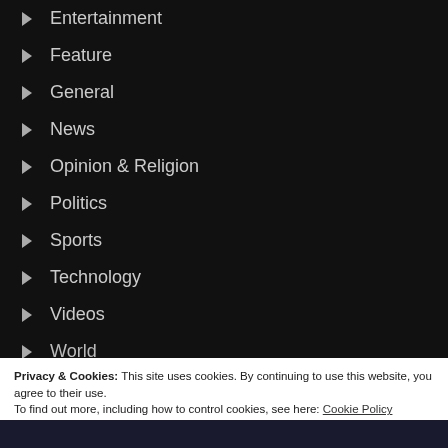Entertainment
Feature
General
News
Opinion & Religion
Politics
Sports
Technology
Videos
World
Privacy & Cookies: This site uses cookies. By continuing to use this website, you agree to their use. To find out more, including how to control cookies, see here: Cookie Policy
Close and accept